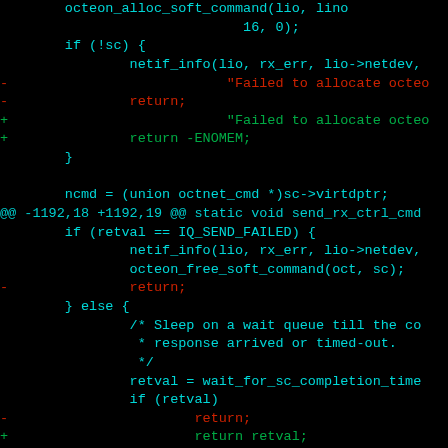[Figure (screenshot): A code diff screenshot on black background showing C source code changes. Lines with '-' prefix are in red (removed), lines with '+' prefix are in green (added), diff hunk headers in cyan, and normal code lines in cyan/teal. The code shows changes to a function involving octeon network commands, error handling with ENOMEM, and wait queue logic.]